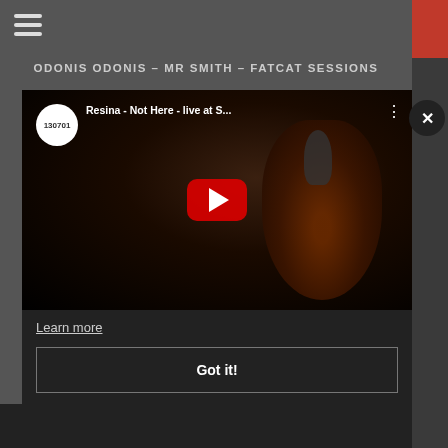ODONIS ODONIS - MR SMITH - FATCAT SESSIONS
[Figure (screenshot): YouTube video thumbnail showing 'Resina - Not Here - live at S...' with channel logo showing '130701', a red play button overlay, and a dark background featuring a musician with a cello. A three-dot menu icon appears in the top right of the video thumbnail.]
Learn more
Got it!